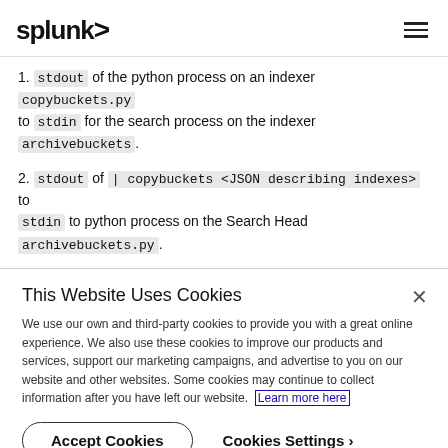splunk>
1. stdout of the python process on an indexer copybuckets.py to stdin for the search process on the indexer archivebuckets.
2. stdout of | copybuckets <JSON describing indexes> to stdin to python process on the Search Head archivebuckets.py.
3. stdout of archivebuckets.py into search scheduler for the...
This Website Uses Cookies
We use our own and third-party cookies to provide you with a great online experience. We also use these cookies to improve our products and services, support our marketing campaigns, and advertise to you on our website and other websites. Some cookies may continue to collect information after you have left our website. Learn more here
Accept Cookies   Cookies Settings ›